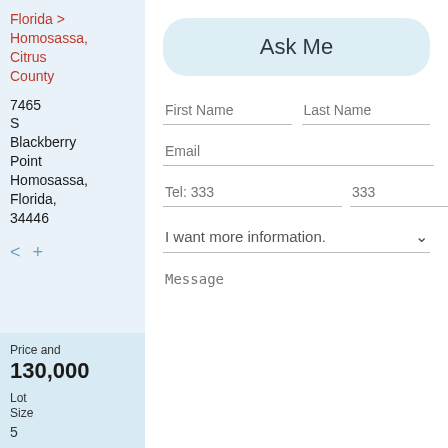Florida > Homosassa, Citrus County
7465 S Blackberry Point Homosassa, Florida, 34446
< +
Price and Lot
130,000
Lot Size
5
Ask Me
First Name
Last Name
Email
Tel: 333
333
4444
I want more information.
Message